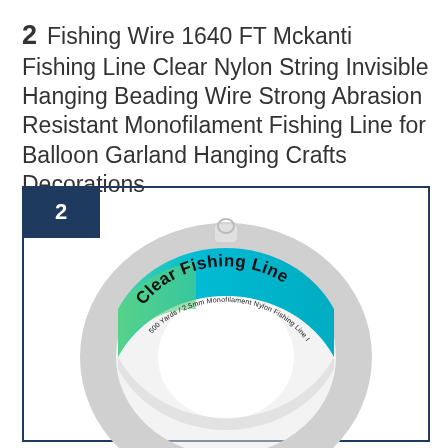2  Fishing Wire 1640 FT Mckanti Fishing Line Clear Nylon String Invisible Hanging Beading Wire Strong Abrasion Resistant Monofilament Fishing Line for Balloon Garland Hanging Crafts Decorations
[Figure (photo): Product photo of a clear fishing line spool in a ring package with a teal/green label reading 'Clear Fishing Line', inside a dark navy blue bordered frame with a '2' badge in the top-left corner.]